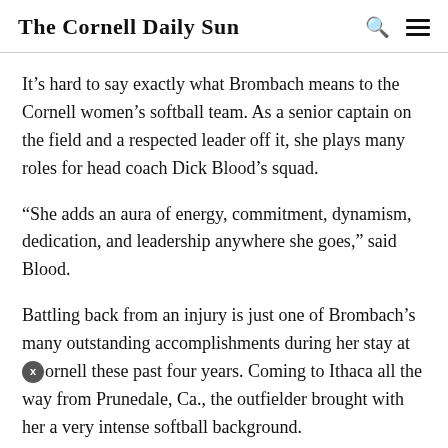The Cornell Daily Sun
It’s hard to say exactly what Brombach means to the Cornell women’s softball team. As a senior captain on the field and a respected leader off it, she plays many roles for head coach Dick Blood’s squad.
“She adds an aura of energy, commitment, dynamism, dedication, and leadership anywhere she goes,” said Blood.
Battling back from an injury is just one of Brombach’s many outstanding accomplishments during her stay at Cornell these past four years. Coming to Ithaca all the way from Prunedale, Ca., the outfielder brought with her a very intense softball background.
“Because of the weather, we played all year round and